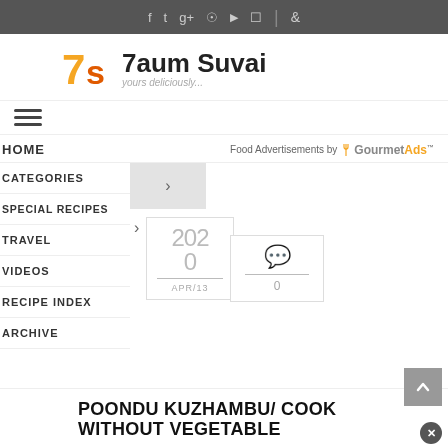Social media icons and search bar (top navigation bar)
[Figure (logo): 7aum Suvai logo with orange 7S icon and tagline 'yours deliciously...']
HOME
Food Advertisements by GourmetAds
CATEGORIES
SPECIAL RECIPES
TRAVEL
VIDEOS
RECIPE INDEX
ARCHIVE
2020
APR/13
0
POONDU KUZHAMBU/ COOK WITHOUT VEGETABLE